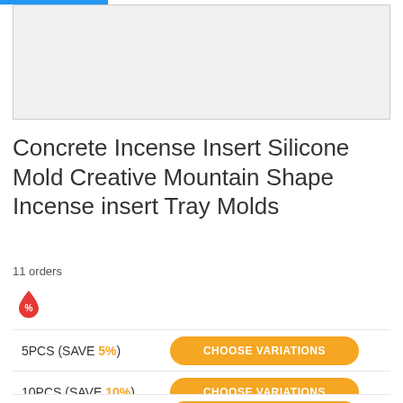[Figure (photo): Product image placeholder area (light gray box)]
Concrete Incense Insert Silicone Mold Creative Mountain Shape Incense insert Tray Molds
11 orders
[Figure (illustration): Red/orange droplet icon with percent sign (%) indicating discount]
5PCS (SAVE 5%) — CHOOSE VARIATIONS
10PCS (SAVE 10%) — CHOOSE VARIATIONS
20PCS (SAVE 12%) — CHOOSE VARIATIONS